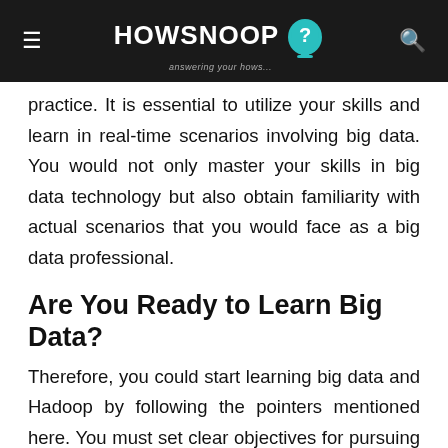HOWSNOOP — answering your hows...
practice. It is essential to utilize your skills and learn in real-time scenarios involving big data. You would not only master your skills in big data technology but also obtain familiarity with actual scenarios that you would face as a big data professional.
Are You Ready to Learn Big Data?
Therefore, you could start learning big data and Hadoop by following the pointers mentioned here. You must set clear objectives for pursuing a career in big data before you start learning. Candidates must have an interest in the value of data and the different ways it can be modulated for business use cases.
If you want to learn big data, you must have the capability to